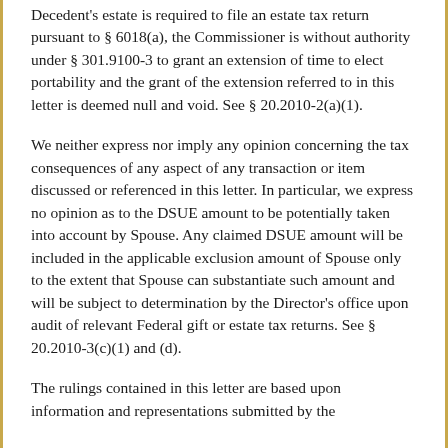Decedent's estate is required to file an estate tax return pursuant to § 6018(a), the Commissioner is without authority under § 301.9100-3 to grant an extension of time to elect portability and the grant of the extension referred to in this letter is deemed null and void. See § 20.2010-2(a)(1).
We neither express nor imply any opinion concerning the tax consequences of any aspect of any transaction or item discussed or referenced in this letter. In particular, we express no opinion as to the DSUE amount to be potentially taken into account by Spouse. Any claimed DSUE amount will be included in the applicable exclusion amount of Spouse only to the extent that Spouse can substantiate such amount and will be subject to determination by the Director's office upon audit of relevant Federal gift or estate tax returns. See § 20.2010-3(c)(1) and (d).
The rulings contained in this letter are based upon information and representations submitted by the